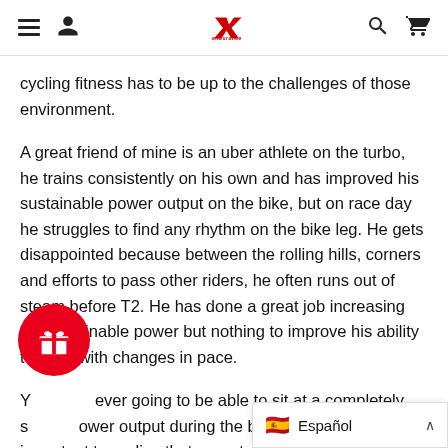Endurance [navigation header with hamburger, person, logo, search, cart icons]
cycling fitness has to be up to the challenges of those environment.
A great friend of mine is an uber athlete on the turbo, he trains consistently on his own and has improved his sustainable power output on the bike, but on race day he struggles to find any rhythm on the bike leg. He gets disappointed because between the rolling hills, corners and efforts to pass other riders, he often runs out of steam before T2. He has done a great job increasing his sustainable power but nothing to improve his ability to cope with changes in pace.
You are never going to be able to sit at a completely steady power output during the bike leg, and it is important to realise that repeated effo